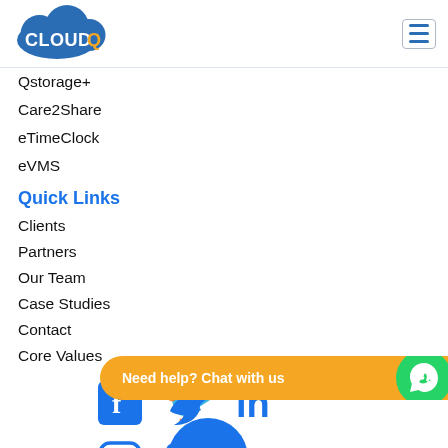[Figure (logo): CloudQ logo — blue cloud shape with white text CLOUDQ and orange Q letter]
[Figure (infographic): Hamburger menu icon (three horizontal blue lines in bordered box)]
Qstorage+
Care2Share
eTimeClock
eVMS
Quick Links
Clients
Partners
Our Team
Case Studies
Contact
Core Values
[Figure (infographic): Social media icons: Facebook, Twitter, LinkedIn, Instagram, YouTube (partial)]
Need help? Chat with us